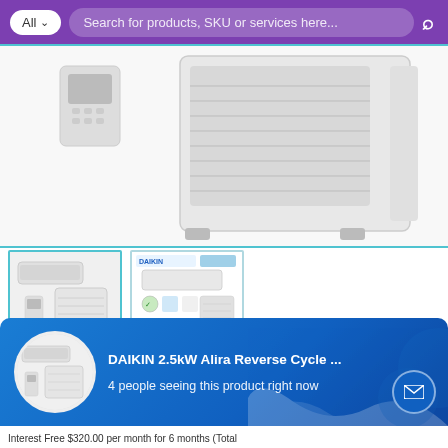Search for products, SKU or services here...
[Figure (photo): Daikin air conditioner outdoor unit and remote control product image, main large view on white background with teal border]
[Figure (photo): Thumbnail 1: Daikin split system indoor and outdoor unit with remote]
[Figure (photo): Thumbnail 2: Daikin Alira series product brochure image showing indoor unit, outdoor unit, and features]
HOME / BRAND / DAIKIN AIR CONDITIONER / ALIRA SERIES
DAIKIN 2.5kW Alira Reverse Cycle Series Air Conditioner FTXM25W – *INSTALLED
[Figure (screenshot): Blue popup overlay showing product thumbnail, product name 'DAIKIN 2.5kW Alira Reverse Cycle ...' and text '4 people seeing this product right now']
Interest Free $320.00 per month for 6 months (Total